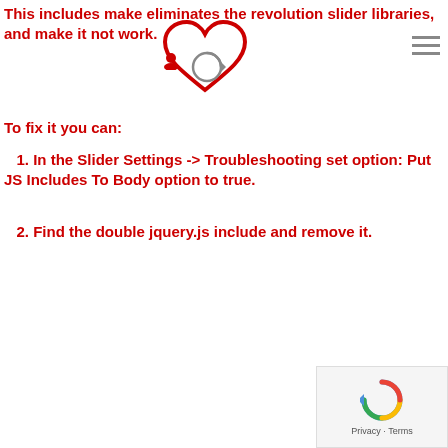This includes make eliminates the revolution slider libraries, and make it not work.
To fix it you can:
1. In the Slider Settings -> Troubleshooting set option: Put JS Includes To Body option to true.
2. Find the double jquery.js include and remove it.